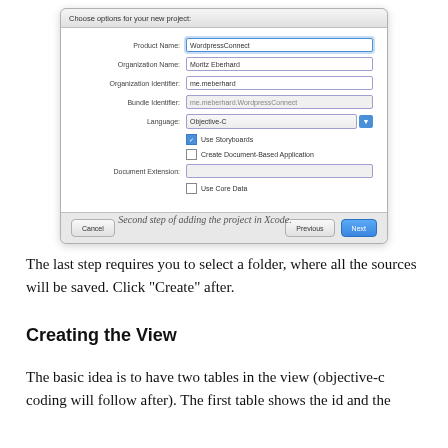[Figure (screenshot): Xcode new project dialog showing options: Product Name (WordpressConnect, highlighted in blue), Organization Name (Moritz Eberhard), Organization Identifier (me.meberhard), Bundle Identifier (me.meberhard.WordpressConnect), Language (Objective-C dropdown), Use Storyboards checkbox (checked), Create Document-Based Application checkbox (unchecked), Document Extension field (disabled), Use Core Data checkbox (unchecked). Footer has Cancel, Previous, and Next (blue) buttons.]
Second step of adding the project in Xcode.
The last step requires you to select a folder, where all the sources will be saved. Click “Create” after.
Creating the View
The basic idea is to have two tables in the view (objective-c coding will follow after). The first table shows the id and the